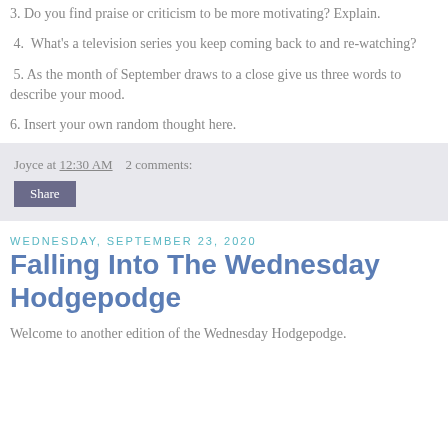3. Do you find praise or criticism to be more motivating? Explain.
4.  What's a television series you keep coming back to and re-watching?
5. As the month of September draws to a close give us three words to describe your mood.
6. Insert your own random thought here.
Joyce at 12:30 AM    2 comments:
Share
Wednesday, September 23, 2020
Falling Into The Wednesday Hodgepodge
Welcome to another edition of the Wednesday Hodgepodge.